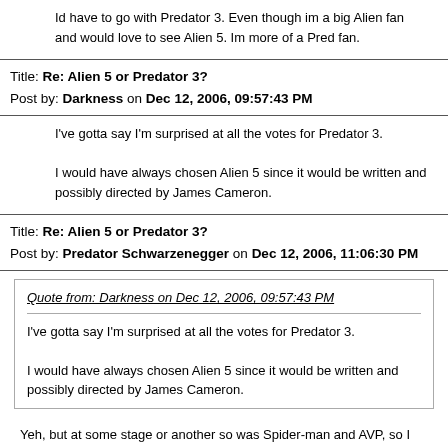Id have to go with Predator 3. Even though im a big Alien fan and would love to see Alien 5. Im more of a Pred fan.
Title: Re: Alien 5 or Predator 3?
Post by: Darkness on Dec 12, 2006, 09:57:43 PM
I've gotta say I'm surprised at all the votes for Predator 3.

I would have always chosen Alien 5 since it would be written and possibly directed by James Cameron.
Title: Re: Alien 5 or Predator 3?
Post by: Predator Schwarzenegger on Dec 12, 2006, 11:06:30 PM
Quote from: Darkness on Dec 12, 2006, 09:57:43 PM

I've gotta say I'm surprised at all the votes for Predator 3.

I would have always chosen Alien 5 since it would be written and possibly directed by James Cameron.
Yeh, but at some stage or another so was Spider-man and AVP, so I don't let those 'rumours' fuel my choices at all. Besides, as inevitable as it is I think it would take a lot to make Alien 5 work. People here